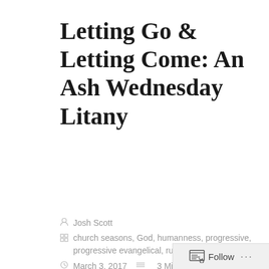Letting Go & Letting Come: An Ash Wednesday Litany
Josh Scott
church seasons, God, humanness, progressive, progressive evangelical, rural church, theology
March 3, 2017  3 Minutes
This year I created a litany for our Ash Wednesday gathering at MCC. I felt compelled to do